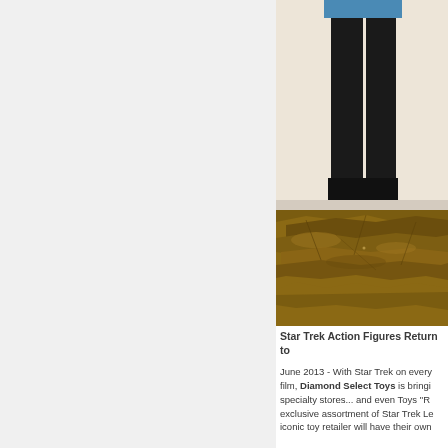[Figure (photo): A Star Trek action figure wearing a blue shirt and black pants, standing on a rocky brown terrain base. The figure is photographed against a light beige/white background. Only the lower half of the figure is visible, showing legs and the base.]
Star Trek Action Figures Return to
June 2013 - With Star Trek on every film, Diamond Select Toys is bringing specialty stores... and even Toys "R" exclusive assortment of Star Trek Le iconic toy retailer will have their own